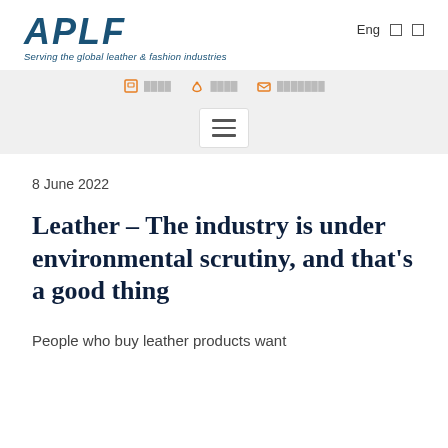APLF — Serving the global leather & fashion industries
8 June 2022
Leather - The industry is under environmental scrutiny, and that's a good thing
People who buy leather products want